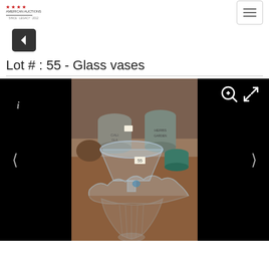Auction company logo and navigation menu
Lot # : 55 - Glass vases
[Figure (photo): Photo of glass vases including a large clear crystal fan-shaped vase in the foreground and smaller ceramic/metal containers in the background, displayed on a wooden surface. Image viewer with navigation arrows, info icon, and zoom controls overlaid on black background.]